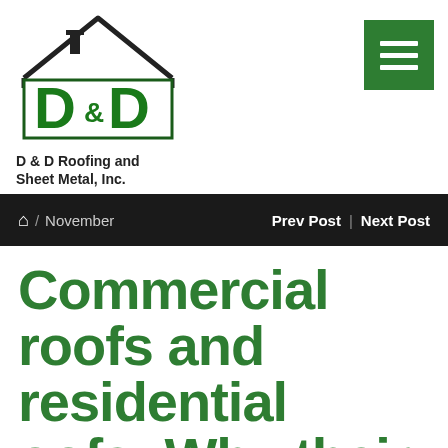[Figure (logo): D & D Roofing and Sheet Metal, Inc. company logo with house/roof outline and green D&D lettering in a box]
D & D Roofing and
Sheet Metal, Inc.
[Figure (other): Green hamburger menu button with three white horizontal bars]
Home / November   Prev Post | Next Post
Commercial roofs and residential roofs: Why their maintenance and